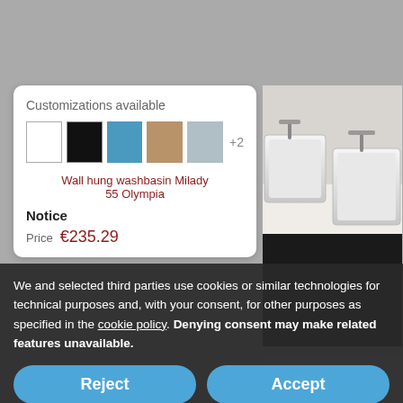[Figure (screenshot): E-commerce page showing two product cards for wall-hung washbasins with color swatches, overlaid with a cookie consent banner containing Reject, Accept, and Learn more buttons.]
Customizations available
Wall hung washbasin Milady 55 Olympia
Notice
Price €235.29
We and selected third parties use cookies or similar technologies for technical purposes and, with your consent, for other purposes as specified in the cookie policy. Denying consent may make related features unavailable.
Customizations available
Vintage sink rectangular countertop washbasins 58 EVO10 Simas
Price from €239.09
Reject
Accept
Learn more and customize